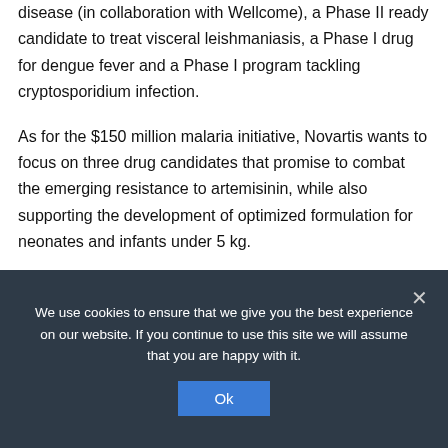disease (in collaboration with Wellcome), a Phase II ready candidate to treat visceral leishmaniasis, a Phase I drug for dengue fever and a Phase I program tackling cryptosporidium infection.
As for the $150 million malaria initiative, Novartis wants to focus on three drug candidates that promise to combat the emerging resistance to artemisinin, while also supporting the development of optimized formulation for neonates and infants under 5 kg.
Novartis has previously committed $100 million toward malaria eradication in 2018 and donated a number of its therapies
We use cookies to ensure that we give you the best experience on our website. If you continue to use this site we will assume that you are happy with it.